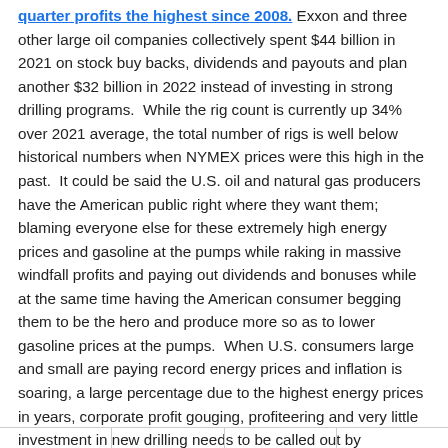quarter profits the highest since 2008. Exxon and three other large oil companies collectively spent $44 billion in 2021 on stock buy backs, dividends and payouts and plan another $32 billion in 2022 instead of investing in strong drilling programs. While the rig count is currently up 34% over 2021 average, the total number of rigs is well below historical numbers when NYMEX prices were this high in the past. It could be said the U.S. oil and natural gas producers have the American public right where they want them; blaming everyone else for these extremely high energy prices and gasoline at the pumps while raking in massive windfall profits and paying out dividends and bonuses while at the same time having the American consumer begging them to be the hero and produce more so as to lower gasoline prices at the pumps. When U.S. consumers large and small are paying record energy prices and inflation is soaring, a large percentage due to the highest energy prices in years, corporate profit gouging, profiteering and very little investment in new drilling needs to be called out by everyone.